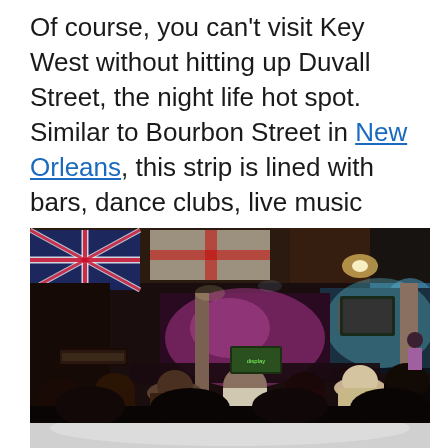Of course, you can't visit Key West without hitting up Duvall Street, the night life hot spot. Similar to Bourbon Street in New Orleans, this strip is lined with bars, dance clubs, live music venues and more.
[Figure (photo): Interior of a lively bar or music venue on Duvall Street in Key West. A band performs on a lit stage at the back, with flags hanging from the ceiling, TV screens, signs, and a crowd of people in the foreground.]